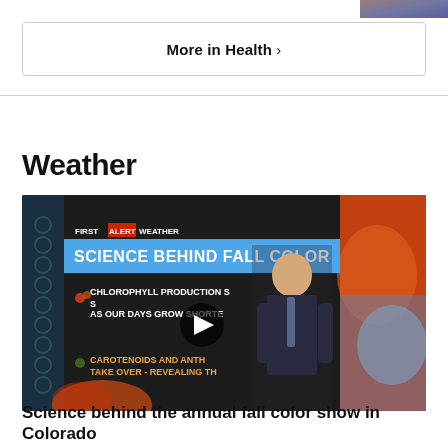[Figure (photo): Partial image strip at top right corner]
More in Health ›
Weather
[Figure (screenshot): Video thumbnail showing a TV meteorologist in front of a screen displaying 'SCIENCE BEHIND FALL COLOR' with text about chlorophyll production and carotenoids, with a play button overlay]
Science behind the annual fall color show in Colorado